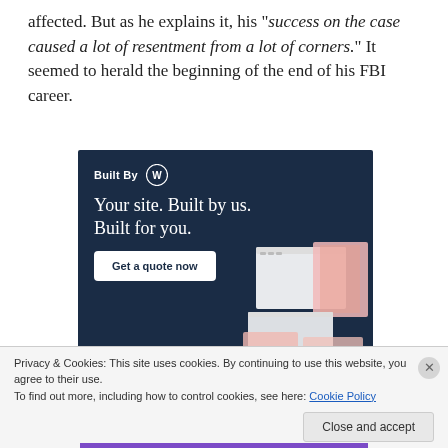affected. But as he explains it, his "success on the case caused a lot of resentment from a lot of corners." It seemed to herald the beginning of the end of his FBI career.
[Figure (other): WordPress 'Built By WP' advertisement banner with dark navy background. Text reads 'Built By [WP logo]', 'Your site. Built by us. Built for you.' with a 'Get a quote now' button and website mockup imagery on the right side.]
Privacy & Cookies: This site uses cookies. By continuing to use this website, you agree to their use.
To find out more, including how to control cookies, see here: Cookie Policy
Close and accept